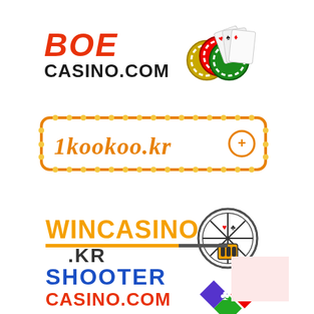[Figure (logo): BOE CASINO.COM logo with playing cards and poker chips]
[Figure (logo): 1kookoo.kr logo in orange bordered box with lights decoration]
[Figure (logo): WINCASINO .KR logo with roulette wheel graphic in orange and black]
[Figure (logo): SHOOTER CASINO.COM logo with colorful diamond/card suit shapes in blue, red, green]